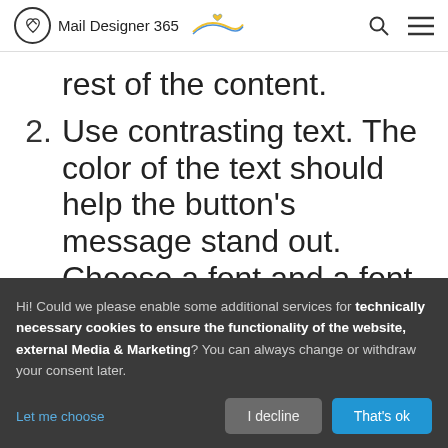Mail Designer 365
rest of the content.
2. Use contrasting text. The color of the text should help the button's message stand out. Choose a font and a font
Hi! Could we please enable some additional services for technically necessary cookies to ensure the functionality of the website, external Media & Marketing? You can always change or withdraw your consent later.
Let me choose | I decline | That's ok